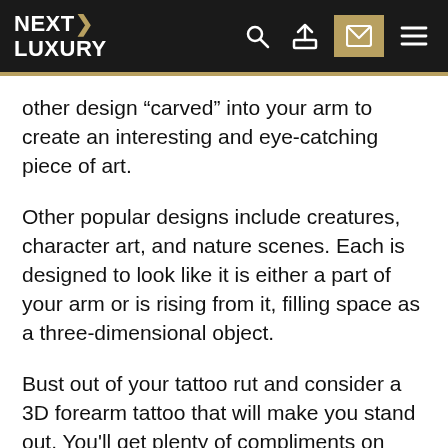NEXT LUXURY
other design “carved” into your arm to create an interesting and eye-catching piece of art.
Other popular designs include creatures, character art, and nature scenes. Each is designed to look like it is either a part of your arm or is rising from it, filling space as a three-dimensional object.
Bust out of your tattoo rut and consider a 3D forearm tattoo that will make you stand out. You'll get plenty of compliments on your new ink, and you won't see anyone else with a tattoo like yours.